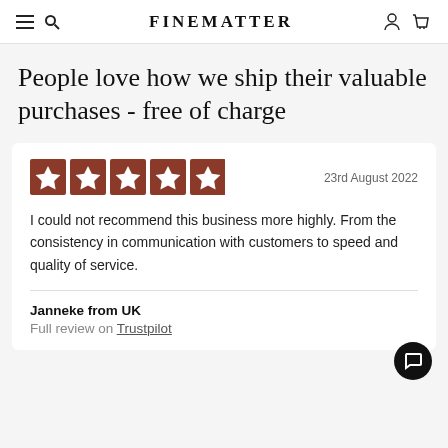FINEMATTER
People love how we ship their valuable purchases - free of charge
I could not recommend this business more highly. From the consistency in communication with customers to speed and quality of service.
Janneke from UK
Full review on Trustpilot
23rd August 2022